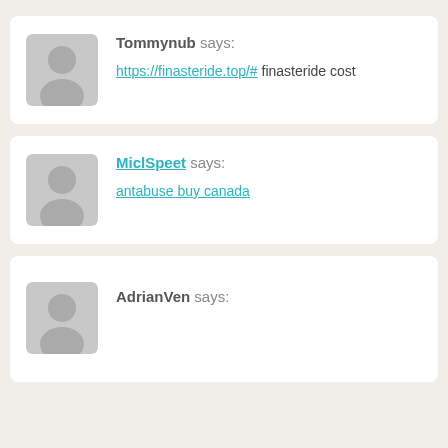Tommynub says: https://finasteride.top/# finasteride cost
MiclSpeet says: antabuse buy canada
AdrianVen says: